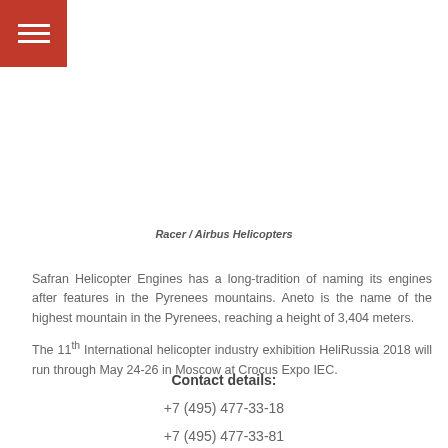[Figure (other): Red hamburger menu button in top-left corner]
Racer / Airbus Helicopters
Safran Helicopter Engines has a long-tradition of naming its engines after features in the Pyrenees mountains. Aneto is the name of the highest mountain in the Pyrenees, reaching a height of 3,404 meters.
The 11th International helicopter industry exhibition HeliRussia 2018 will run through May 24-26 in Moscow at Crocus Expo IEC.
Contact details:
+7 (495) 477-33-18
+7 (495) 477-33-81